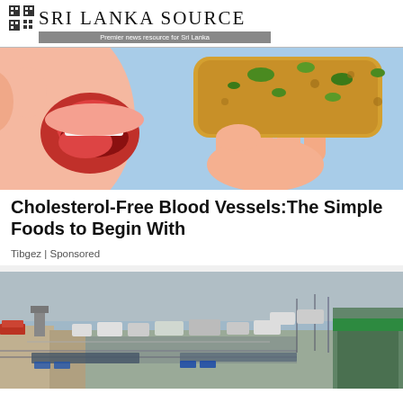Sri Lanka Source — Premier news resource for Sri Lanka
[Figure (illustration): Cartoon illustration of a person about to eat a piece of bread/toast covered with green mold, with a hand holding the moldy bread close to an open mouth, on a light blue background.]
Cholesterol-Free Blood Vessels:The Simple Foods to Begin With
Tibgez | Sponsored
[Figure (photo): Aerial photograph of a border crossing or checkpoint with rows of vehicles, police/military personnel lined up, fencing and barriers, and a green-roofed building in the lower right corner.]